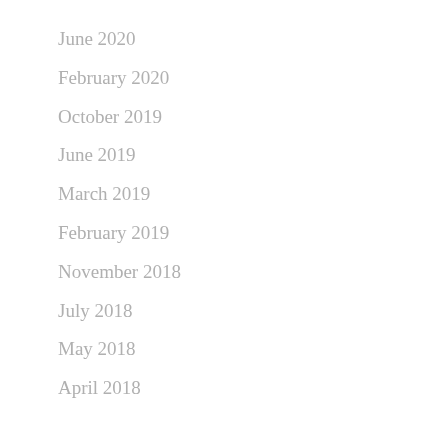June 2020
February 2020
October 2019
June 2019
March 2019
February 2019
November 2018
July 2018
May 2018
April 2018